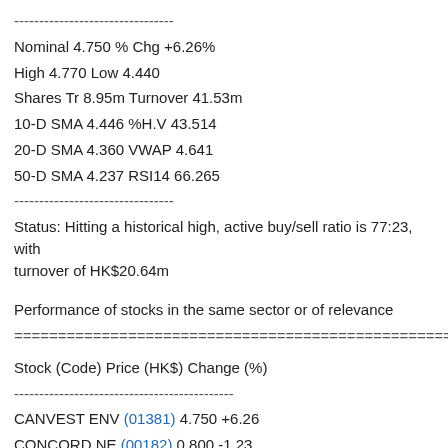--------------------------------
Nominal 4.750 % Chg +6.26%
High 4.770 Low 4.440
Shares Tr 8.95m Turnover 41.53m
10-D SMA 4.446 %H.V 43.514
20-D SMA 4.360 VWAP 4.641
50-D SMA 4.237 RSI14 66.265
--------------------------------
Status: Hitting a historical high, active buy/sell ratio is 77:23, with turnover of HK$20.64m
Performance of stocks in the same sector or of relevance
========================================================
Stock (Code) Price (HK$) Change (%)
--------------------------------------------
CANVEST ENV (01381) 4.750 +6.26
CONCORD NE (00182) 0.800 -1.23
EB ENVIRONMENT (00257) 5.780 -0.86